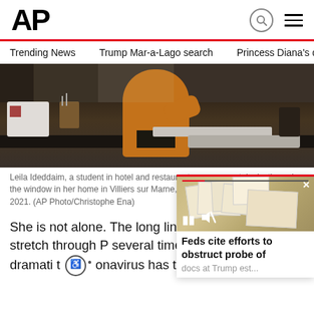AP
Trending News   Trump Mar-a-Lago search   Princess Diana's dea
[Figure (photo): Person in orange sweater standing in a kitchen near a counter and sink]
Leila Ideddaim, a student in hotel and restaurant management, looks through the window in her home in Villiers sur Marne, east of Paris Tuesday, Feb. 9, 2021. (AP Photo/Christophe Ena)
She is not alone. The long lines of [people] for food aid that stretch through P[aris] several times a week are a dramati[c sign of wha]t [c]oronavirus has taken on Fran[ce]
[Figure (screenshot): Popup video overlay showing documents at Trump estate with text: Feds cite efforts to obstruct probe of docs at Trump est...]